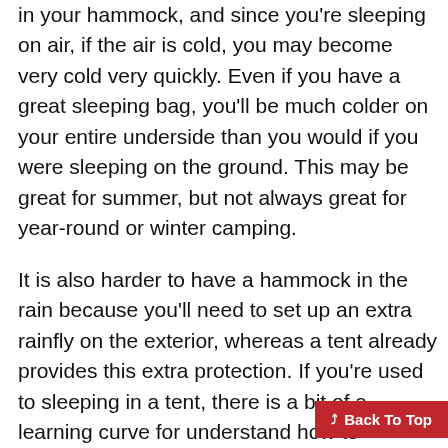in your hammock, and since you're sleeping on air, if the air is cold, you may become very cold very quickly. Even if you have a great sleeping bag, you'll be much colder on your entire underside than you would if you were sleeping on the ground. This may be great for summer, but not always great for year-round or winter camping.
It is also harder to have a hammock in the rain because you'll need to set up an extra rainfly on the exterior, whereas a tent already provides this extra protection. If you're used to sleeping in a tent, there is a bit of a learning curve for understand how to properly enjoy being in a hammock. They are only easy to set up when you're familiar with them. Some